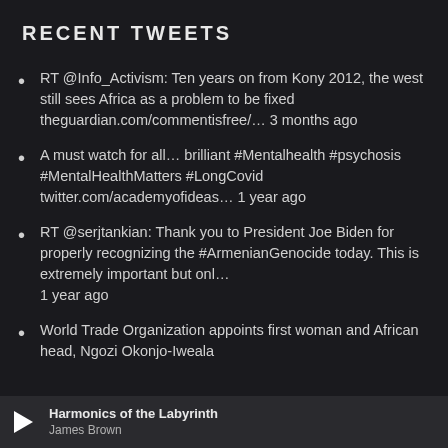RECENT TWEETS
RT @Info_Activism: Ten years on from Kony 2012, the west still sees Africa as a problem to be fixed theguardian.com/commentisfree/... 3 months ago
A must watch for all... brilliant #Mentalhealth #psychosis #MentalHealthMatters #LongCovid twitter.com/academyofideas... 1 year ago
RT @serjtankian: Thank you to President Joe Biden for properly recognizing the #ArmenianGenocide today. This is extremely important but onl... 1 year ago
World Trade Organization appoints first woman and African head, Ngozi Okonjo-Iweala
Harmonics of the Labyrinth — James Brown